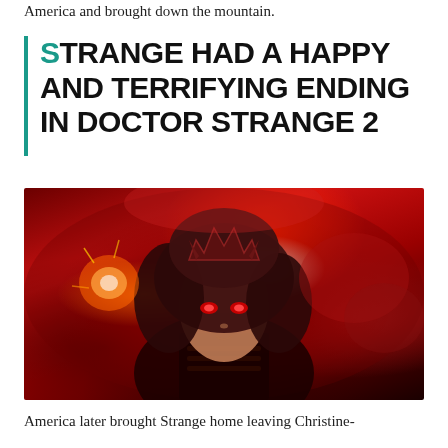America and brought down the mountain.
Strange had a happy and terrifying ending in Doctor Strange 2
[Figure (photo): Scarlet Witch (Elizabeth Olsen) in costume with glowing red eyes and red magical energy in her hands, set against a dark red background, from Doctor Strange in the Multiverse of Madness]
America later brought Strange home leaving Christine-